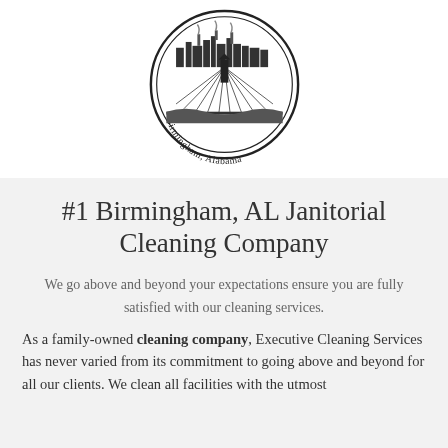[Figure (logo): Birmingham, Alabama city seal — circular seal with cityscape and rays, text reading 'Birmingham, Alabama' around the border]
#1 Birmingham, AL Janitorial Cleaning Company
We go above and beyond your expectations ensure you are fully satisfied with our cleaning services.
As a family-owned cleaning company, Executive Cleaning Services has never varied from its commitment to going above and beyond for all our clients. We clean all facilities with the utmost